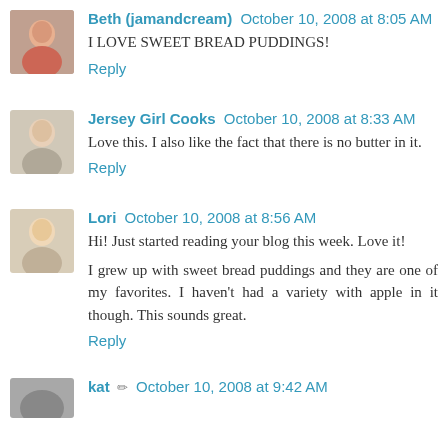Beth (jamandcream) October 10, 2008 at 8:05 AM
I LOVE SWEET BREAD PUDDINGS!
Reply
Jersey Girl Cooks October 10, 2008 at 8:33 AM
Love this. I also like the fact that there is no butter in it.
Reply
Lori October 10, 2008 at 8:56 AM
Hi! Just started reading your blog this week. Love it!
I grew up with sweet bread puddings and they are one of my favorites. I haven't had a variety with apple in it though. This sounds great.
Reply
kat October 10, 2008 at 9:42 AM